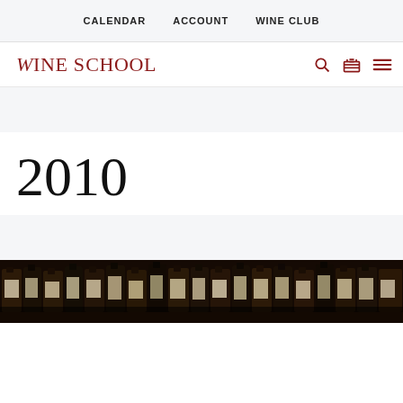CALENDAR   ACCOUNT   WINE CLUB
Wine School
2010
[Figure (photo): A row of wine bottles on a dark shelf/bar, photographed in low lighting with labels visible but partially readable, showing various wine bottles densely packed together.]